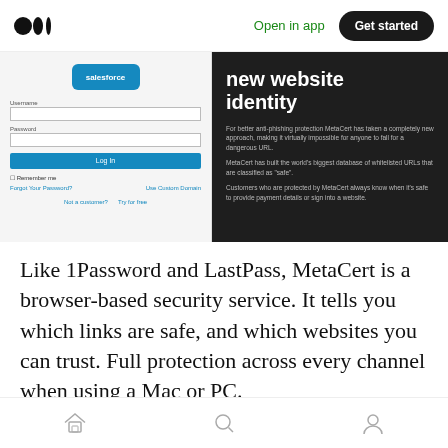Medium app header with logo, Open in app, Get started button
[Figure (screenshot): Split screenshot: left side shows Salesforce login page with logo, username/password fields, login button, remember me checkbox, and links. Right side shows dark MetaCert panel with 'new website identity' heading and description text about anti-phishing protection, URL database, and customer protection.]
Like 1Password and LastPass, MetaCert is a browser-based security service. It tells you which links are safe, and which websites you can trust. Full protection across every channel when using a Mac or PC.
The software takes 30 seconds to install and 1
Bottom navigation bar with home, search, and profile icons